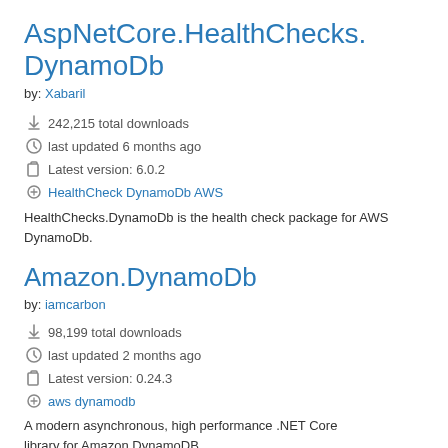AspNetCore.HealthChecks.DynamoDb
by: Xabaril
242,215 total downloads
last updated 6 months ago
Latest version: 6.0.2
HealthCheck DynamoDb AWS
HealthChecks.DynamoDb is the health check package for AWS DynamoDb.
Amazon.DynamoDb
by: iamcarbon
98,199 total downloads
last updated 2 months ago
Latest version: 0.24.3
aws dynamodb
A modern asynchronous, high performance .NET Core library for Amazon DynamoDB.